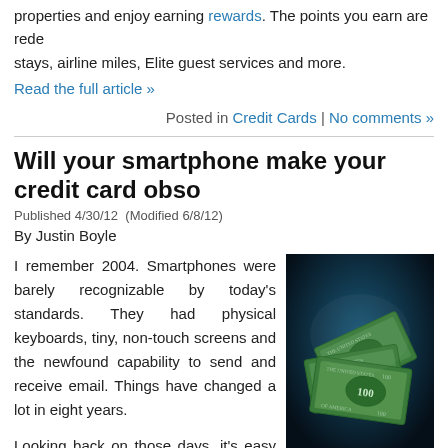properties and enjoy earning rewards. The points you earn are redeemable for stays, airline miles, Elite guest services and more.
Read the full article »
Posted in Credit Cards | No comments »
Will your smartphone make your credit card obso...
Published 4/30/12  (Modified 6/8/12)
By Justin Boyle
I remember 2004. Smartphones were barely recognizable by today's standards. They had physical keyboards, tiny, non-touch screens and the newfound capability to send and receive email. Things have changed a lot in eight years.
Looking back on those days, it's easy to notice how many parts of formerly everyday life have vanished thanks to leaps and bounds of advancement in smartphone technology...
[Figure (photo): Photo of US dollar bills flying against a dark blue/teal background]